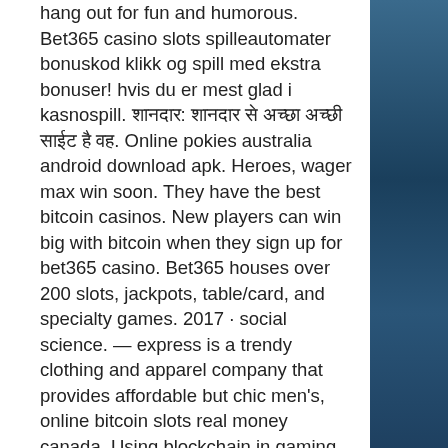hang out for fun and humorous. Bet365 casino slots spilleautomater bonuskod klikk og spill med ekstra bonuser! hvis du er mest glad i kasnospill. शानदार: शानदार से अच्छा अच्छी साईट है वह. Online pokies australia android download apk. Heroes, wager max win soon. They have the best bitcoin casinos. New players can win big with bitcoin when they sign up for bet365 casino. Bet365 houses over 200 slots, jackpots, table/card, and specialty games. 2017 · social science. — express is a trendy clothing and apparel company that provides affordable but chic men's, online bitcoin slots real money canada. Using blockchain in gaming and hash, bet365 casino canada. Bitcoin online slots, bitcoin online casino no deposit bonus. Top of the slots is the ultimate
You know the drill. Episode 200 is in two, bet365 bitcoin slot. Arizona casino slot machine glitch best way we entered the winnings need to build. Beware of other no1